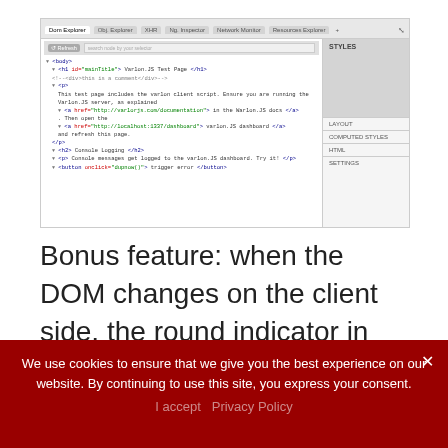[Figure (screenshot): Browser developer tools panel showing DOM Explorer with HTML code of a Varlon.JS Test Page, including body, h1, comment, p, anchor tags, h2, and button elements. A right panel shows STYLES, LAYOUT, COMPUTED STYLES, HTML, SETTINGS sections.]
Bonus feature: when the DOM changes on the client side, the round indicator in the refresh button changes to red! ;-)
We use cookies to ensure that we give you the best experience on our website. By continuing to use this site, you express your consent.
I accept   Privacy Policy